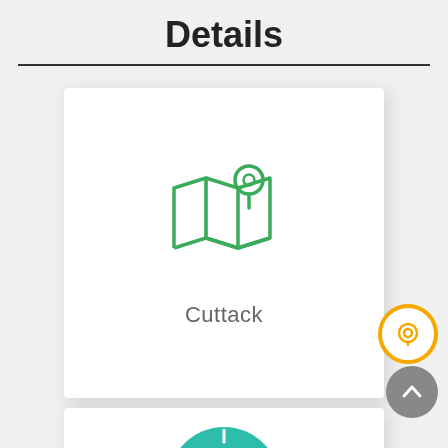Details
[Figure (illustration): White card with a green map/location pin icon above the text 'Cuttack']
Cuttack
[Figure (illustration): White card with a teal/green 24-hour clock icon (partially visible)]
[Figure (illustration): Yellow circular chat bubble button (floating action button)]
[Figure (illustration): Grey circular up-arrow button (scroll to top)]